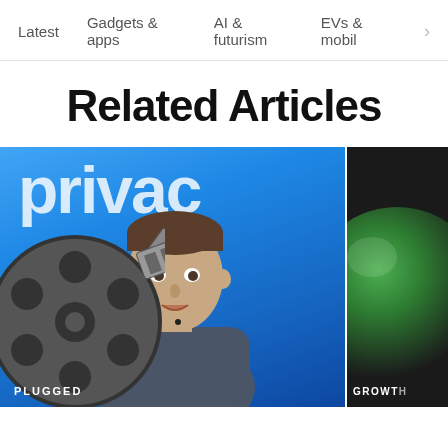Latest   Gadgets & apps   AI & futurism   EVs & mobil  >
Related Articles
[Figure (photo): Two article thumbnail cards side by side. Left card: man (Mark Zuckerberg) speaking in front of a blue background with white 'privac' text visible, with a film reel emoji overlay in the lower left. Bottom label reads 'PLUGGED'. Right card: partial view of a dark card with a green spherical object, bottom label reads 'GROWT'.]